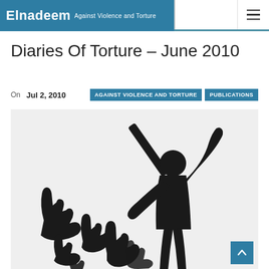Elnadeem Against Violence and Torture
Diaries Of Torture – June 2010
On  Jul 2, 2010   AGAINST VIOLENCE AND TORTURE   PUBLICATIONS
[Figure (illustration): Silhouette illustration of a person raising a baton over a group of hands raised in defense, depicted in black against a light grey background.]